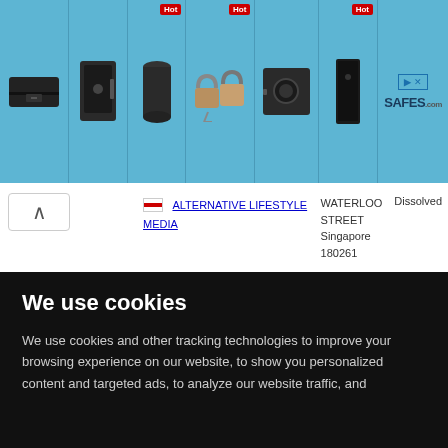[Figure (screenshot): Advertisement banner for Safes.com showing various safe and lock products on a blue background, with Hot badges on some items and the SAFES logo with arrow icon on the right]
| Company | Address | Status |
| --- | --- | --- |
| ALTERNATIVE LIFESTYLE MEDIA | WATERLOO STREET Singapore 180261 | Dissolved |
| ALTERNATIVE LIFESTYLES, INC. | 7451 PARK BLVD PINELLAS PK FL 34664 | Inactive |
We use cookies
We use cookies and other tracking technologies to improve your browsing experience on our website, to show you personalized content and targeted ads, to analyze our website traffic, and